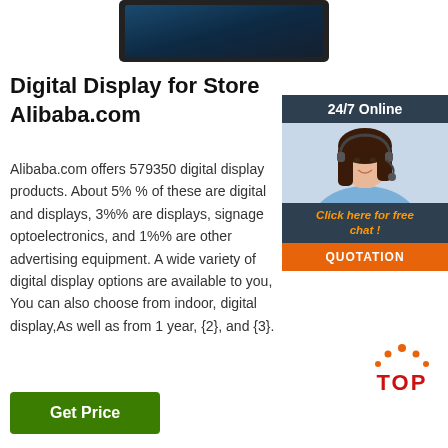[Figure (photo): Digital display tablet device shown from front, dark frame with blue screen]
Digital Display for Store Alibaba.com
Alibaba.com offers 579350 digital display products. About 5% % of these are digital and displays, 3%% are displays, signage optoelectronics, and 1%% are other advertising equipment. A wide variety of digital display options are available to you, You can also choose from indoor, digital display,As well as from 1 year, {2}, and {3}.
[Figure (infographic): 24/7 Online customer service widget with photo of woman wearing headset, 'Click here for free chat!' text in orange, and orange QUOTATION button]
[Figure (logo): TOP badge with orange dots arranged in arc above red TOP text]
Get Price